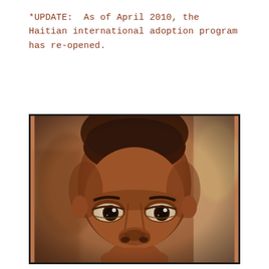*UPDATE: As of April 2010, the Haitian international adoption program has re-opened.
[Figure (photo): Close-up portrait photograph of a young Haitian child with dark eyes looking directly at the camera. The photo has warm, slightly desaturated tones with a soft blurred background. The child's face fills most of the frame from forehead to just below the nose.]